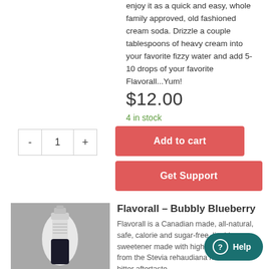enjoy it as a quick and easy, whole family approved, old fashioned cream soda.  Drizzle a couple tablespoons of heavy cream into your favorite fizzy water and add 5-10 drops of your favorite Flavorall...Yum!
$12.00
4 in stock
Add to cart
Get Support
Flavorall – Bubbly Blueberry
Flavorall is a Canadian made, all-natural, safe, calorie and sugar-free, liquid sweetener made with high-purity Stevia from the Stevia rebaudiana herb and no bitter aftertaste
[Figure (photo): A white dropper bottle on a gray background]